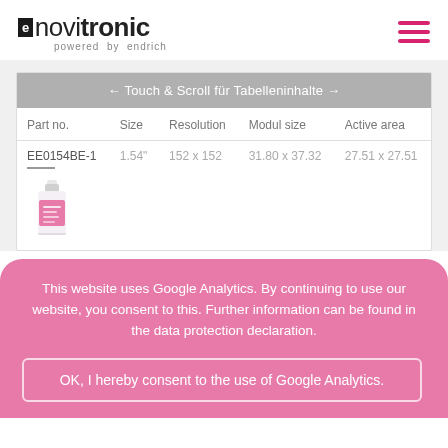novitronic powered by endrich
← Touch & Scroll für Tabelleninhalte →
| Part no. | Size | Resolution | Modul size | Active area |
| --- | --- | --- | --- | --- |
| EE0154BE-1 | 1.54" | 152 x 152 | 31.80 x 37.32 | 27.51 x 27.51 |
This website uses Google Analytics. By continuing to use our website, you consent to this. Further information can be found in the data protection declaration.
OK, I hereby consent to the use of Google Analytics.